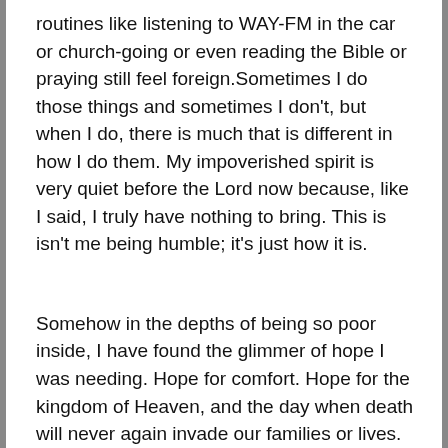routines like listening to WAY-FM in the car or church-going or even reading the Bible or praying still feel foreign.Sometimes I do those things and sometimes I don't, but when I do, there is much that is different in how I do them. My impoverished spirit is very quiet before the Lord now because, like I said, I truly have nothing to bring. This is isn't me being humble; it's just how it is.
Somehow in the depths of being so poor inside, I have found the glimmer of hope I was needing. Hope for comfort. Hope for the kingdom of Heaven, and the day when death will never again invade our families or lives. Hope that light will dawn upon this dark night, and that, when it does, I will see Jesus more clearly than I ever did before.